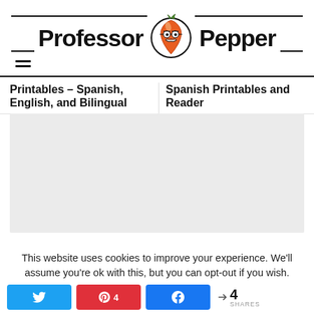[Figure (logo): Professor Pepper logo with illustrated chili pepper character in a circle, flanked by horizontal lines and bold text 'Professor' and 'Pepper']
Printables – Spanish, English, and Bilingual
Spanish Printables and Reader
[Figure (other): Light gray advertisement/content placeholder box]
This website uses cookies to improve your experience. We'll assume you're ok with this, but you can opt-out if you wish.
Twitter share button | Pinterest 4 | Facebook share button | < 4 SHARES